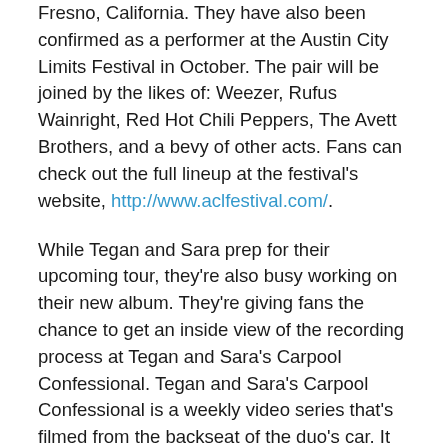Fresno, California.  They have also been confirmed as a performer at the Austin City Limits Festival in October.  The pair will be joined by the likes of:  Weezer, Rufus Wainright, Red Hot Chili Peppers, The Avett Brothers, and a bevy of other acts.  Fans can check out the full lineup at the festival's website, http://www.aclfestival.com/.
While Tegan and Sara prep for their upcoming tour, they're also busy working on their new album.  They're giving fans the chance to get an inside view of the recording process at Tegan and Sara's Carpool Confessional.  Tegan and Sara's Carpool Confessional is a weekly video series that's filmed from the backseat of the duo's car.  It features different guests and musical collaborators each week.  fans can check it out at http://www.teganandsara.com/carpool-confessional/.
Fans can also keep up with all the latest from Tegan and